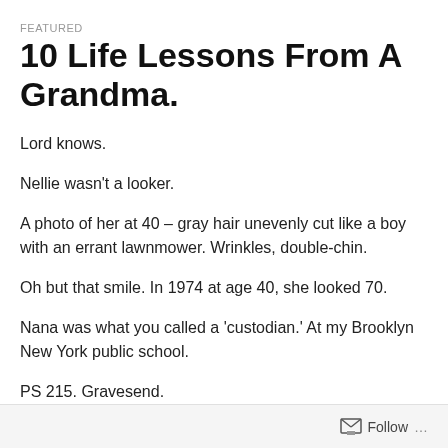FEATURED
10 Life Lessons From A Grandma.
Lord knows.
Nellie wasn't a looker.
A photo of her at 40 – gray hair unevenly cut like a boy with an errant lawnmower. Wrinkles, double-chin.
Oh but that smile. In 1974 at age 40, she looked 70.
Nana was what you called a 'custodian.' At my Brooklyn New York public school.
PS 215. Gravesend.
Follow